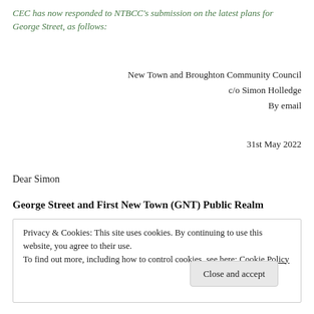CEC has now responded to NTBCC's submission on the latest plans for George Street, as follows:
New Town and Broughton Community Council
c/o Simon Holledge
By email
31st May 2022
Dear Simon
George Street and First New Town (GNT) Public Realm
Privacy & Cookies: This site uses cookies. By continuing to use this website, you agree to their use.
To find out more, including how to control cookies, see here: Cookie Policy
Close and accept